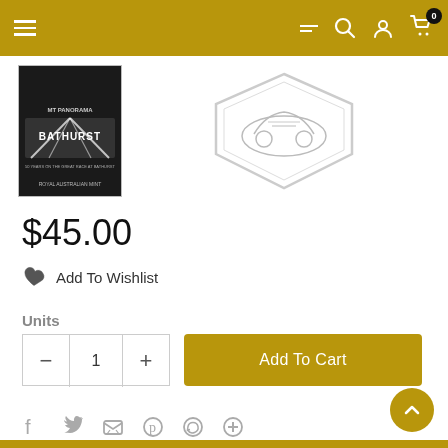Navigation header with menu, filter, search, account, and cart icons
[Figure (photo): Product images: a book titled 'Bathurst' with dark cover on the left, and a commemorative coin (50c piece, shield shaped) on the right]
$45.00
Add To Wishlist
Units
Add To Cart
Social share icons: Facebook, Twitter, Email, Pinterest, WhatsApp, More